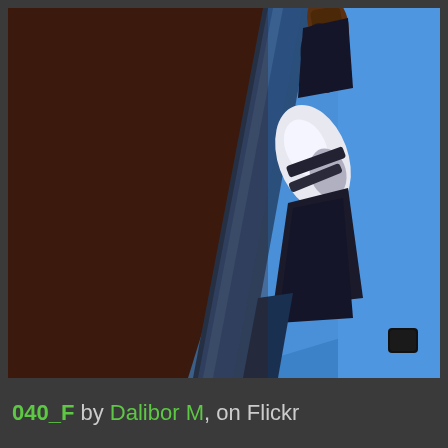[Figure (photo): Close-up photograph of a sculpture or statue on a metal pole/ladder, viewed from below against a bright blue sky. Left side shows dark brown textured surface (wall or panel), right side shows bright blue sky. A diagonal blue structural element (pole or ladder rail) runs from lower-left to upper-right. A white and dark sculptural form is visible near the pole.]
040_F by Dalibor M, on Flickr